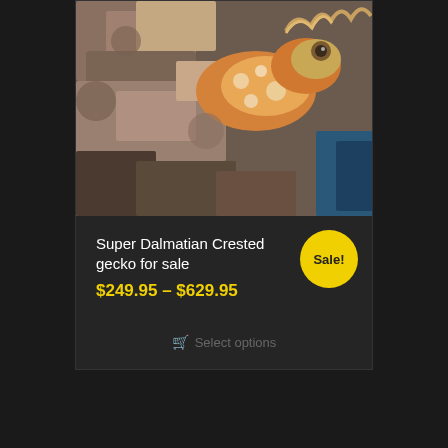[Figure (photo): Close-up photo of a Super Dalmatian Crested gecko camouflaged against bark/wood texture, showing orange and cream mottled coloration]
Super Dalmatian Crested gecko for sale
$249.95 – $629.95
Sale!
Select options
SUBSCRIBE FOR A CHANCE TO WIN A $25 GIFT CARD!
Email Address*